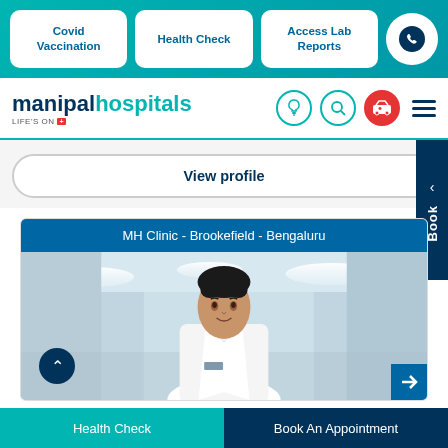Covid Vaccination | Health Check | Access Lab Reports
[Figure (logo): Manipal Hospitals logo with tagline LIFE'S ON]
View profile
MH Clinic - Brookefield - Bengaluru
[Figure (photo): Doctor in white coat smiling in a hospital corridor]
Health Check | Book An Appointment